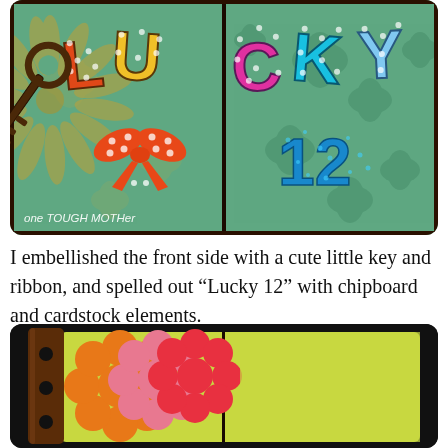[Figure (photo): Craft project photo showing a two-panel green scrapbook/mini-album cover spelling 'LUCKY 12' with colorful polka-dot chipboard letters in red, yellow, pink, teal, and light blue. Left panel has a decorative tan swirl/sunburst and a vintage skeleton key with an orange polka-dot ribbon bow. Watermark reads 'one TOUGH MOTHer'. Right panel shows the number 12 in sparkly teal glitter.]
I embellished the front side with a cute little key and ribbon, and spelled out "Lucky 12" with chipboard and cardstock elements.
[Figure (photo): Bottom photo showing a craft/scrapbook project with layered scalloped paper flower shapes in orange, pink, red, and coral colors on a yellow-green background, displayed inside a dark brown binder/album against a black background.]